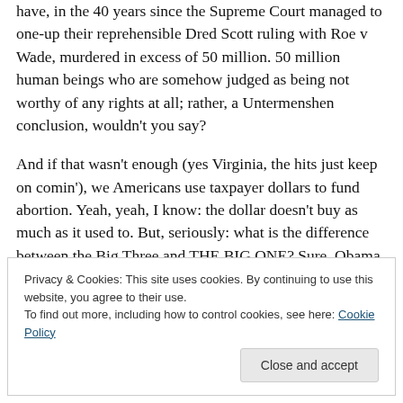have, in the 40 years since the Supreme Court managed to one-up their reprehensible Dred Scott ruling with Roe v Wade, murdered in excess of 50 million. 50 million human beings who are somehow judged as being not worthy of any rights at all; rather, a Untermenshen conclusion, wouldn't you say?
And if that wasn't enough (yes Virginia, the hits just keep on comin'), we Americans use taxpayer dollars to fund abortion. Yeah, yeah, I know: the dollar doesn't buy as much as it used to. But, seriously: what is the difference between the Big Three and THE BIG ONE? Sure, Obama
Privacy & Cookies: This site uses cookies. By continuing to use this website, you agree to their use.
To find out more, including how to control cookies, see here: Cookie Policy